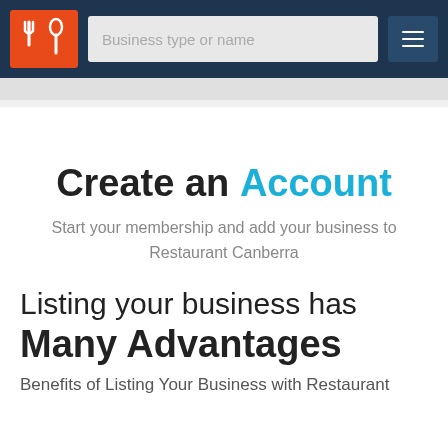[Figure (logo): Restaurant/food business logo with fork and spoon icon on orange background]
Business type or name
Create an Account
Start your membership and add your business to Restaurant Canberra
Listing your business has Many Advantages
Benefits of Listing Your Business with Restaurant